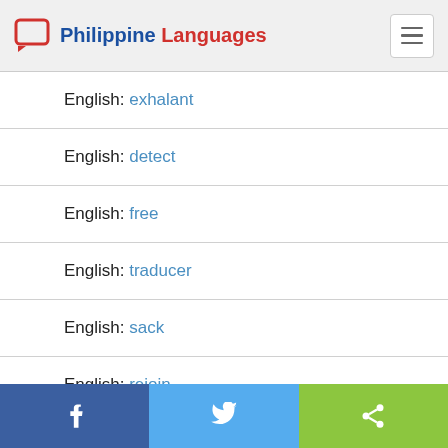Philippine Languages
English: exhalant
English: detect
English: free
English: traducer
English: sack
English: rejoin
Share buttons: Facebook, Twitter, Share